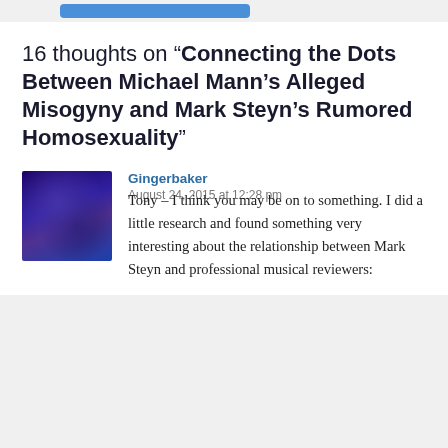16 thoughts on “Connecting the Dots Between Michael Mann’s Alleged Misogyny and Mark Steyn’s Rumored Homosexuality”
Gingerbaker
August 24, 2015 at 12:28 pm

Tony – I think you may be on to something. I did a little research and found something very interesting about the relationship between Mark Steyn and professional musical reviewers: